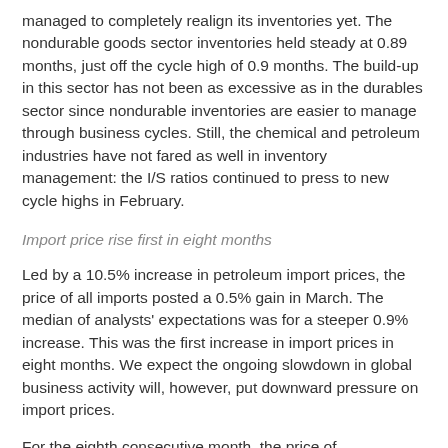managed to completely realign its inventories yet. The nondurable goods sector inventories held steady at 0.89 months, just off the cycle high of 0.9 months. The build-up in this sector has not been as excessive as in the durables sector since nondurable inventories are easier to manage through business cycles. Still, the chemical and petroleum industries have not fared as well in inventory management: the I/S ratios continued to press to new cycle highs in February.
Import price rise first in eight months
Led by a 10.5% increase in petroleum import prices, the price of all imports posted a 0.5% gain in March. The median of analysts' expectations was for a steeper 0.9% increase. This was the first increase in import prices in eight months. We expect the ongoing slowdown in global business activity will, however, put downward pressure on import prices.
For the eighth consecutive month, the price of nonpetroleum import prices fell. And, for the third consecutive month, the decline was 0.7%. These developments should help ease